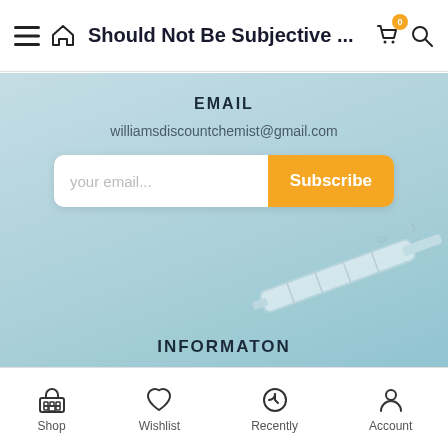Should Not Be Subjective ...
EMAIL
williamsdiscountchemist@gmail.com
[Figure (screenshot): Email subscription form with text input 'your email...' and orange Subscribe button on light blue background with syringe image]
INFORMATON
Standard Post
Image Post
Shop  Wishlist  Recently  Account